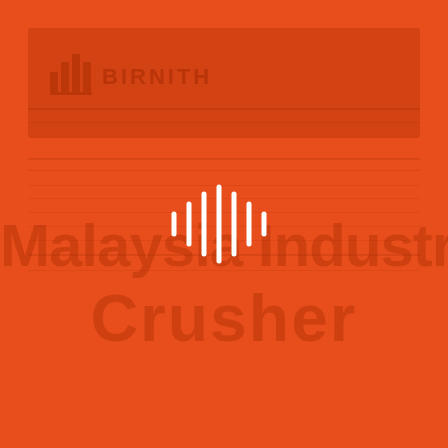[Figure (logo): Orange background cover page with BIRNITH logo at top left, a white audio/sound wave icon in the center, and faded watermark text reading 'Malaysia Industrial Crusher']
Malaysia Industrial Crusher